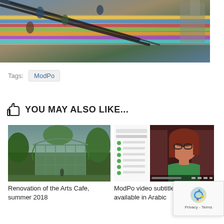[Figure (photo): Aerial view of people on striped colorful floor with metal railings, appears to be a museum or public building interior]
Tags: ModPo
YOU MAY ALSO LIKE...
[Figure (photo): Rendering of Arts Cafe renovation with greenhouse-style glass building surrounded by trees]
[Figure (screenshot): Video thumbnail showing a woman with glasses and red hair speaking, ModPo video subtitles]
Renovation of the Arts Cafe, summer 2018
ModPo video subtitles now available in Arabic